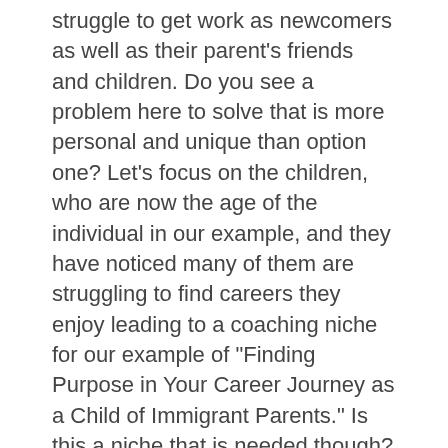struggle to get work as newcomers as well as their parent's friends and children. Do you see a problem here to solve that is more personal and unique than option one? Let's focus on the children, who are now the age of the individual in our example, and they have noticed many of them are struggling to find careers they enjoy leading to a coaching niche for our example of “Finding Purpose in Your Career Journey as a Child of Immigrant Parents.” Is this a niche that is needed though? The next step of testing the idea with others will provide more answers and insight.
Discovering your niche in the coaching industry can be a long and emotional process, if you are really struggling taking other continuing education courses that align with your values and interest